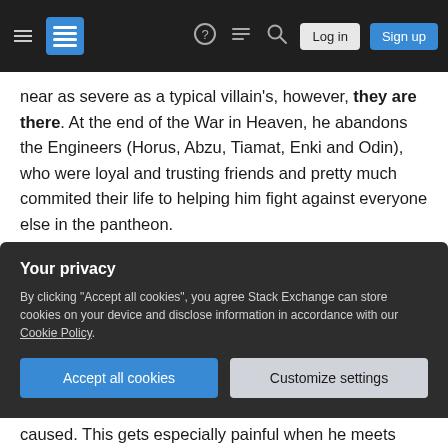Stack Exchange navigation bar with hamburger menu, logo, help, chat, search icons, Log in and Sign up buttons
near as severe as a typical villain's, however, they are there. At the end of the War in Heaven, he abandons the Engineers (Horus, Abzu, Tiamat, Enki and Odin), who were loyal and trusting friends and pretty much commited their life to helping him fight against everyone else in the pantheon.
He kills a lizardfolk chieftain, who was a danger both to his tribe and to the neighbouring humans, but does so in front of his child, and since I love humanizing my characters, said child will forever be
Your privacy
By clicking "Accept all cookies", you agree Stack Exchange can store cookies on your device and disclose information in accordance with our Cookie Policy.
Accept all cookies    Customize settings
caused. This gets especially painful when he meets